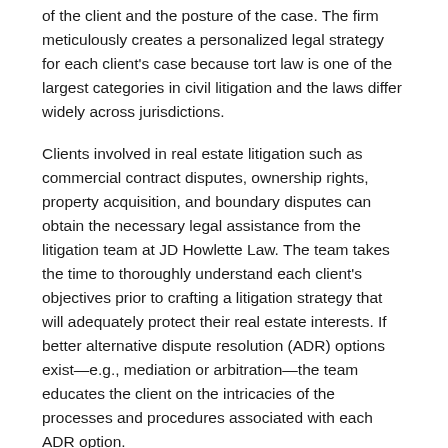of the client and the posture of the case. The firm meticulously creates a personalized legal strategy for each client's case because tort law is one of the largest categories in civil litigation and the laws differ widely across jurisdictions.
Clients involved in real estate litigation such as commercial contract disputes, ownership rights, property acquisition, and boundary disputes can obtain the necessary legal assistance from the litigation team at JD Howlette Law. The team takes the time to thoroughly understand each client's objectives prior to crafting a litigation strategy that will adequately protect their real estate interests. If better alternative dispute resolution (ADR) options exist—e.g., mediation or arbitration—the team educates the client on the intricacies of the processes and procedures associated with each ADR option.
Clients looking to start a business or those seeking legal